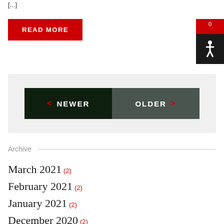[...]
READ MORE
[Figure (other): Accessibility widget icon with red badge showing '0' and black box with wheelchair symbol]
< NEWER   OLDER >
Archive
March 2021 (2)
February 2021 (2)
January 2021 (2)
December 2020 (2)